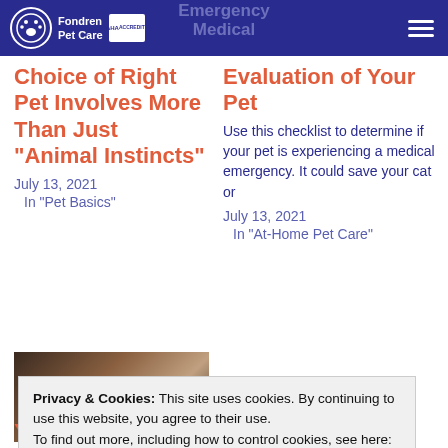Fondren Pet Care | Emergency Medical
Choice of Right Pet Involves More Than Just "Animal Instincts"
July 13, 2021
    In "Pet Basics"
Evaluation of Your Pet
Use this checklist to determine if your pet is experiencing a medical emergency. It could save your cat or
July 13, 2021
    In "At-Home Pet Care"
[Figure (photo): Thumbnail photo of a pet]
Your Pets Teeth
Privacy & Cookies: This site uses cookies. By continuing to use this website, you agree to their use.
To find out more, including how to control cookies, see here: Cookie Policy
Close and accept